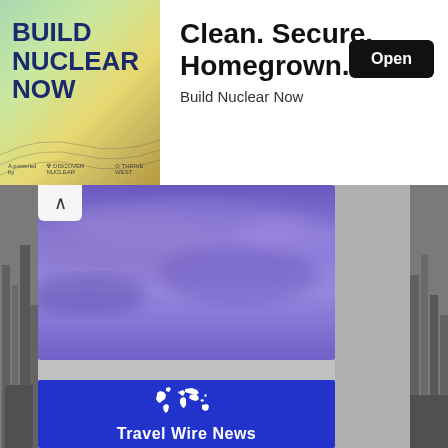[Figure (infographic): Advertisement banner: 'Build Nuclear Now' with image on left showing topographic design, and text on right: 'Clean. Secure. Homegrown.' with 'Build Nuclear Now' subtitle and 'Open' button.]
[Figure (photo): Purple/blue cloudy sky image above a content area.]
[Figure (logo): Travel Wire News logo on blue background with white world map graphic and white text 'Travel Wire News'.]